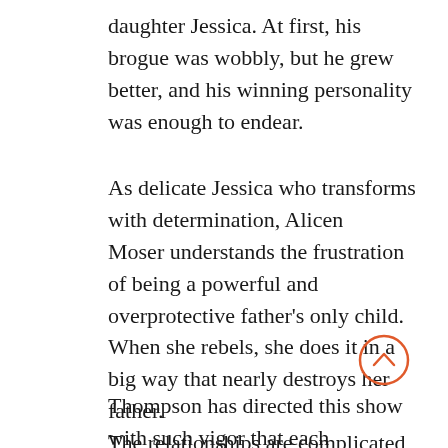daughter Jessica. At first, his brogue was wobbly, but he grew better, and his winning personality was enough to endear.
As delicate Jessica who transforms with determination, Alicen Moser understands the frustration of being a powerful and overprotective father's only child. When she rebels, she does it in a big way that nearly destroys her father.
The relationships are complicated, but this cast pulsates under Jacqueline Thompson's perceptive direction.
Thompson has directed this show with such vigor that each